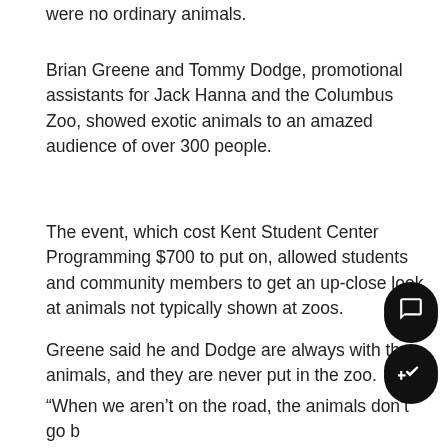were no ordinary animals.
Brian Greene and Tommy Dodge, promotional assistants for Jack Hanna and the Columbus Zoo, showed exotic animals to an amazed audience of over 300 people.
The event, which cost Kent Student Center Programming $700 to put on, allowed students and community members to get an up-close look at animals not typically shown at zoos.
Greene said he and Dodge are always with the animals, and they are never put in the zoo.
“When we aren’t on the road, the animals don’t go b… to the zoo – they come home with us,” Greene sai… “Animals, just like people, have their favorite people t… be around and work with and we want to keep that … connection.”